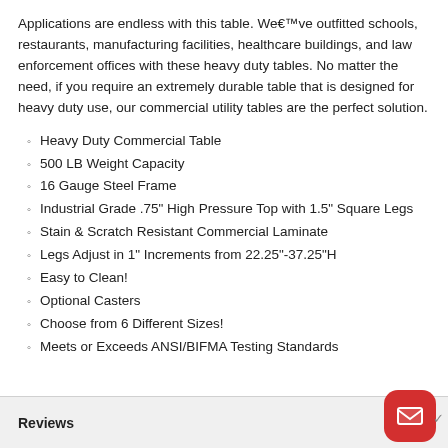Applications are endless with this table. We’ve outfitted schools, restaurants, manufacturing facilities, healthcare buildings, and law enforcement offices with these heavy duty tables. No matter the need, if you require an extremely durable table that is designed for heavy duty use, our commercial utility tables are the perfect solution.
Heavy Duty Commercial Table
500 LB Weight Capacity
16 Gauge Steel Frame
Industrial Grade .75" High Pressure Top with 1.5" Square Legs
Stain & Scratch Resistant Commercial Laminate
Legs Adjust in 1" Increments from 22.25"-37.25"H
Easy to Clean!
Optional Casters
Choose from 6 Different Sizes!
Meets or Exceeds ANSI/BIFMA Testing Standards
Reviews